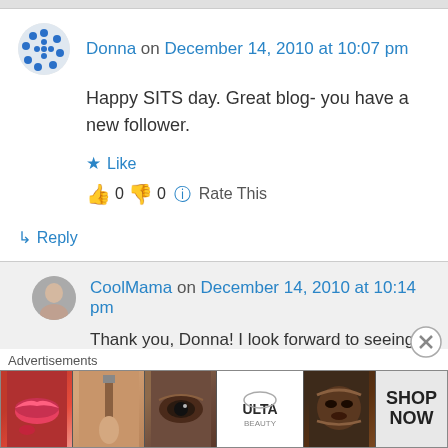Donna on December 14, 2010 at 10:07 pm
Happy SITS day. Great blog- you have a new follower.
Like
0  0  Rate This
↳ Reply
CoolMama on December 14, 2010 at 10:14 pm
Thank you, Donna! I look forward to seeing
Advertisements
[Figure (photo): ULTA beauty advertisement banner with lipstick, makeup brush, eye, ULTA logo, dark eye makeup, and SHOP NOW text]